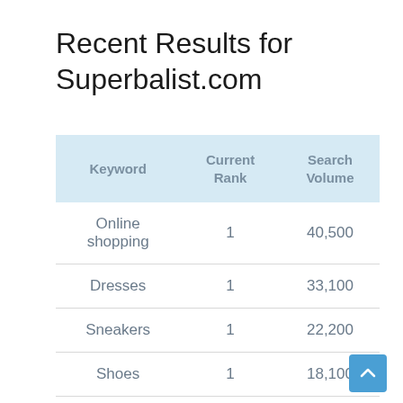Recent Results for Superbalist.com
| Keyword | Current Rank | Search Volume |
| --- | --- | --- |
| Online shopping | 1 | 40,500 |
| Dresses | 1 | 33,100 |
| Sneakers | 1 | 22,200 |
| Shoes | 1 | 18,100 |
| Heels | 1 | 12,100 |